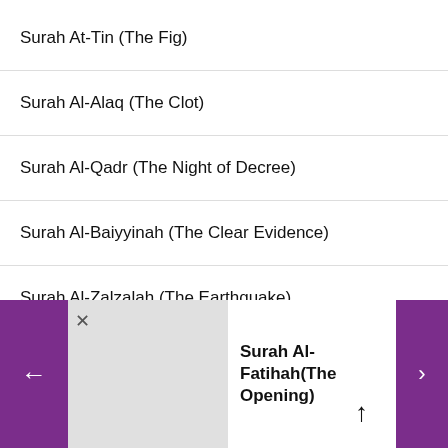Surah At-Tin (The Fig)
Surah Al-Alaq (The Clot)
Surah Al-Qadr (The Night of Decree)
Surah Al-Baiyyinah (The Clear Evidence)
Surah Al-Zalzalah (The Earthquake)
Surah Al-Aadiyaat (Those that run)
Surah Al-Qari'ah (The Striking Hour)
Surah Al-Fatihah(The Opening)